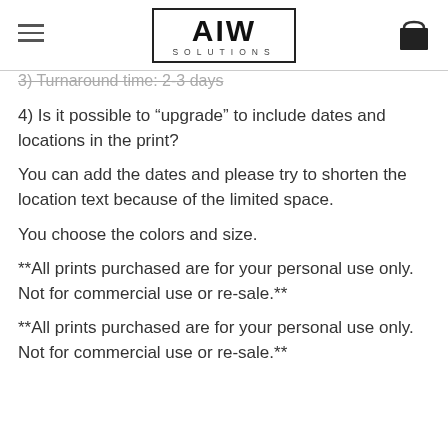AIW SOLUTIONS
3) Turnaround time: 2-3 days
4) Is it possible to “upgrade” to include dates and locations in the print?
You can add the dates and please try to shorten the location text because of the limited space.
You choose the colors and size.
**All prints purchased are for your personal use only. Not for commercial use or re-sale.**
**All prints purchased are for your personal use only. Not for commercial use or re-sale.**